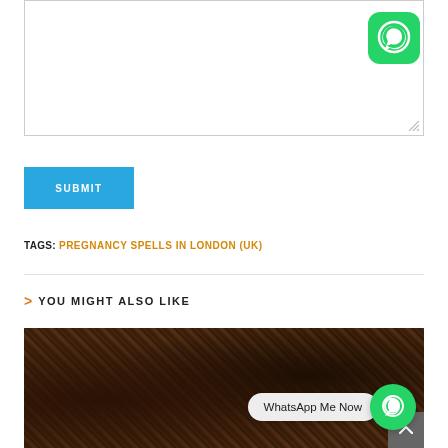[Figure (screenshot): Empty textarea input box with resize handle at bottom right]
[Figure (logo): WhatsApp green icon in top right corner]
SUBMIT
TAGS: PREGNANCY SPELLS IN LONDON (UK)
YOU MIGHT ALSO LIKE
[Figure (photo): Dark brown mottled photo at bottom, possibly traditional items. WhatsApp Me Now bubble with green WhatsApp circle icon overlaid.]